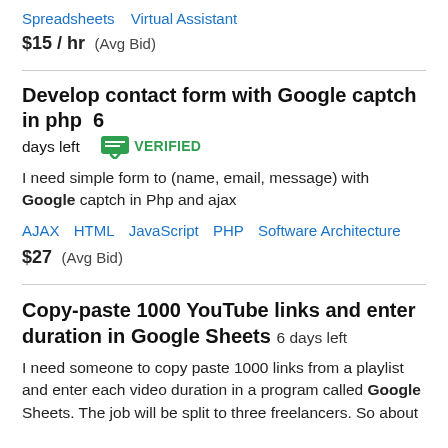Spreadsheets   Virtual Assistant
$15 / hr   (Avg Bid)
Develop contact form with Google captch in php   6 days left   VERIFIED
I need simple form to (name, email, message) with Google captch in Php and ajax
AJAX   HTML   JavaScript   PHP   Software Architecture
$27   (Avg Bid)
Copy-paste 1000 YouTube links and enter duration in Google Sheets   6 days left
I need someone to copy paste 1000 links from a playlist and enter each video duration in a program called Google Sheets. The job will be split to three freelancers. So about